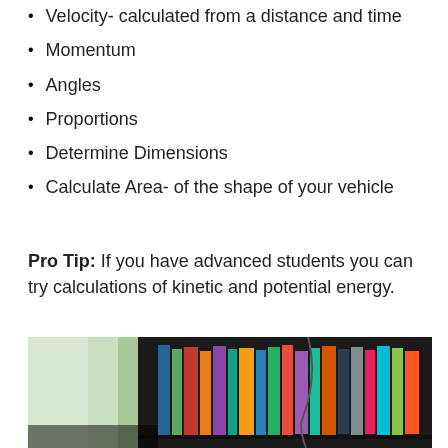Velocity- calculated from a distance and time
Momentum
Angles
Proportions
Determine Dimensions
Calculate Area- of the shape of your vehicle
Pro Tip: If you have advanced students you can try calculations of kinetic and potential energy.
[Figure (photo): A blurry photo showing a bookshelf with colorful books and a window with a view outside, dark background.]